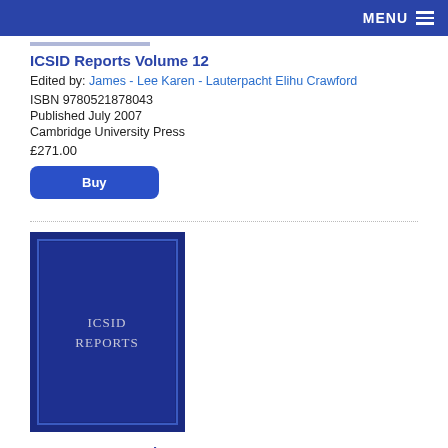MENU
ICSID Reports Volume 12
Edited by: James - Lee Karen - Lauterpacht Elihu Crawford
ISBN 9780521878043
Published July 2007
Cambridge University Press
£271.00
Buy
[Figure (illustration): Book cover for ICSID Reports, dark navy blue with border and text ICSID REPORTS in white]
ICSID Reports Volume 11
Edited by: Karen Lee
ISBN 9780521871709